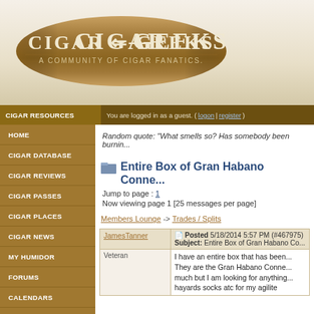[Figure (logo): Cigar Geeks logo - oval wood-textured background with 'CIGAR GEEKS' text and tagline 'A COMMUNITY OF CIGAR FANATICS.']
CIGAR RESOURCES | You are logged in as a guest. ( logon | register )
HOME
CIGAR DATABASE
CIGAR REVIEWS
CIGAR PASSES
CIGAR PLACES
CIGAR NEWS
MY HUMIDOR
FORUMS
CALENDARS
ARTICLES
CIGAR SIZER
PHOTO ALBUMS
QUOTES
Random quote: "What smells so? Has somebody been burnin...
Entire Box of Gran Habano Conne...
Jump to page : 1
Now viewing page 1 [25 messages per page]
Members Lounge -> Trades / Splits
| User | Post |
| --- | --- |
| JamesTanner | Posted 5/18/2014 5:57 PM (#467975) Subject: Entire Box of Gran Habano Co... |
| Veteran | I have an entire box that has been... They are the Gran Habano Conne... much but I am looking for anything... hayards socks atc for my agilite |